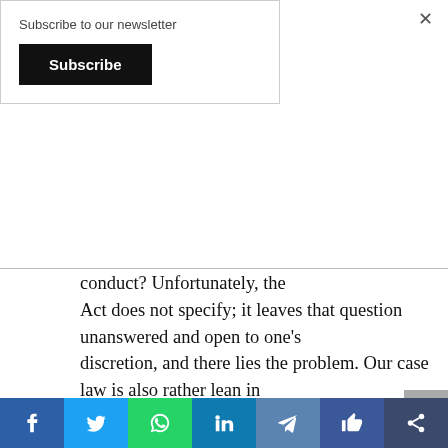Subscribe to our newsletter
Subscribe
conduct? Unfortunately, the Act does not specify; it leaves that question unanswered and open to one's discretion, and there lies the problem. Our case law is also rather lean in this respect, as most of the disciplinary cases have bordered on conduct in a professional respect (I found none which
Social share bar: Facebook, Twitter, WhatsApp, LinkedIn, Telegram, Like, Share